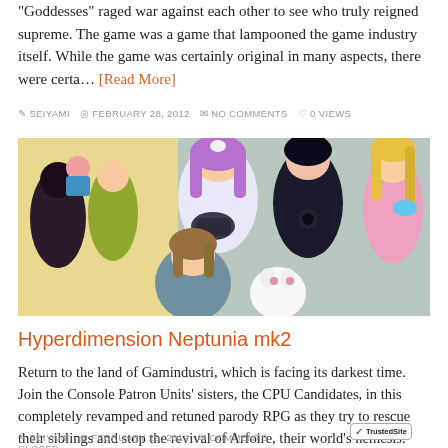“Goddesses” raged war against each other to see who truly reigned supreme. The game was a game that lampooned the game industry itself. While the game was certainly original in many aspects, there were certa… [Read More]
SEIYAMI  FEBRUARY 28, 2012  NO COMMENTS  0 VIEWS
[Figure (illustration): Anime-style illustration showing several colorful female characters from Hyperdimension Neptunia, including a character with long purple hair holding a game controller, characters in school uniforms, and other stylized characters.]
Hyperdimension Neptunia mk2
Return to the land of Gamindustri, which is facing its darkest time. Join the Console Patron Units’ sisters, the CPU Candidates, in this completely revamped and retuned parody RPG as they try to rescue their siblings and stop the revival of Arfoire, their world’s nemesis.
SEIYAMI  FEBRUARY 29, 2012  COMMENTS CLOSED
[Figure (logo): TrustedSite logo badge with checkmark]